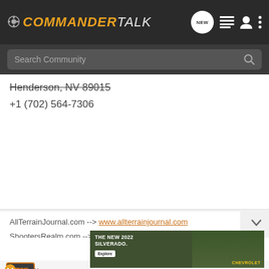COMMANDER TALK
Henderson, NV 89015
+1 (702) 564-7306
AllTerrainJournal.com --> www.allterrainjournal.com
ShootersRealm.com --> www.shootersrealm.com
HTP · Premium Member
[Figure (screenshot): Ad banner for The New 2022 Silverado by Chevrolet with Explore button]